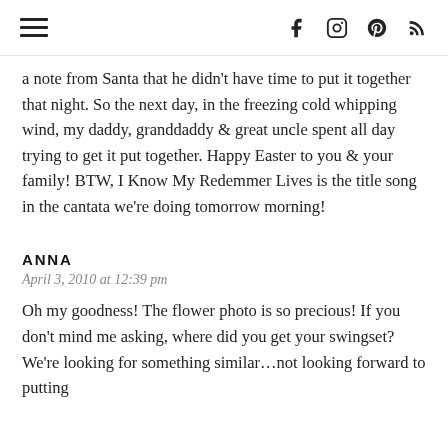[hamburger menu icon] [facebook icon] [instagram icon] [pinterest icon] [rss icon]
a note from Santa that he didn't have time to put it together that night. So the next day, in the freezing cold whipping wind, my daddy, granddaddy & great uncle spent all day trying to get it put together. Happy Easter to you & your family! BTW, I Know My Redemmer Lives is the title song in the cantata we're doing tomorrow morning!
ANNA
April 3, 2010 at 12:39 pm
Oh my goodness! The flower photo is so precious! If you don't mind me asking, where did you get your swingset? We're looking for something similar…not looking forward to putting